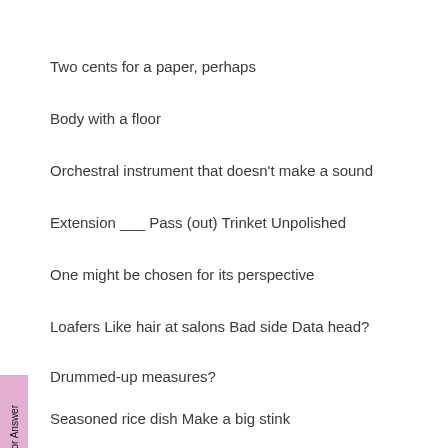Two cents for a paper, perhaps
Body with a floor
Orchestral instrument that doesn't make a sound
Extension ___ Pass (out) Trinket Unpolished
One might be chosen for its perspective
Loafers Like hair at salons Bad side Data head?
Drummed-up measures?
Seasoned rice dish Make a big stink
Blue book alternative
Actress Sink of "Stranger Things"